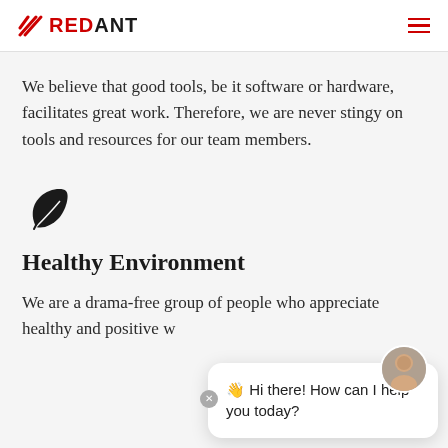REDANT
We believe that good tools, be it software or hardware, facilitates great work. Therefore, we are never stingy on tools and resources for our team members.
[Figure (illustration): A dark leaf/feather icon]
Healthy Environment
We are a drama-free group of people who appreciate healthy and positive w...
[Figure (screenshot): Chat popup with avatar photo of a woman and text: Hi there! How can I help you today?]